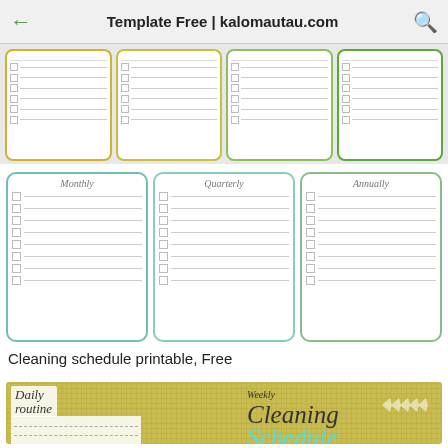Template Free | kalomautau.com
[Figure (other): Four checklist boxes with colored borders (yellow, yellow-green, light green, green), each containing 6 checkbox rows with lines]
[Figure (other): Three checklist boxes labeled Monthly, Quarterly, Annually with teal/mint/sage borders, each containing 8 checkbox rows]
Cleaning schedule printable, Free
[Figure (other): Bottom image showing a cleaning schedule printable on a yellow/burlap background with 'Daily routine' handwritten label on left and 'Weekly Cleaning Schedule' script text on right]